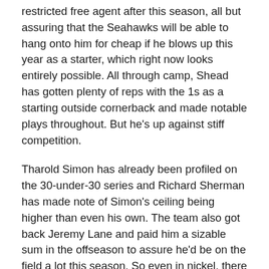restricted free agent after this season, all but assuring that the Seahawks will be able to hang onto him for cheap if he blows up this year as a starter, which right now looks entirely possible. All through camp, Shead has gotten plenty of reps with the 1s as a starting outside cornerback and made notable plays throughout. But he's up against stiff competition.
Tharold Simon has already been profiled on the 30-under-30 series and Richard Sherman has made note of Simon's ceiling being higher than even his own. The team also got back Jeremy Lane and paid him a sizable sum in the offseason to assure he'd be on the field a lot this season. So even in nickel, there are going to be plenty of times this year when a cornerback you might like a lot, and who might be worthy of starting elsewhere, will still be on the sidelines.